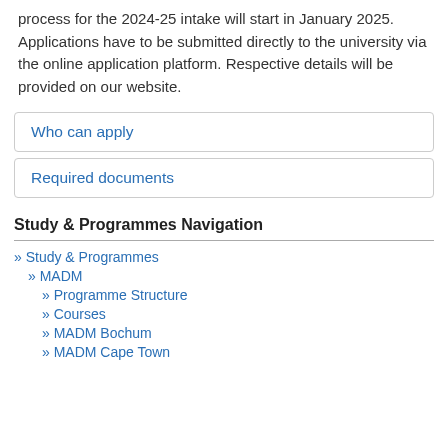process for the 2024-25 intake will start in January 2025. Applications have to be submitted directly to the university via the online application platform. Respective details will be provided on our website.
Who can apply
Required documents
Study & Programmes Navigation
» Study & Programmes
» MADM
» Programme Structure
» Courses
» MADM Bochum
» MADM Cape Town